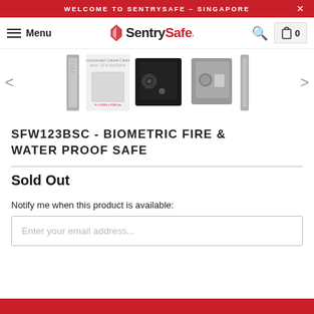WELCOME TO SENTRYSAFE – SINGAPORE
[Figure (screenshot): SentrySafe navigation bar with hamburger menu, logo, search icon, and cart icon showing 0 items]
[Figure (photo): Product image gallery showing five images of SFW123BSC biometric safe from various angles, with left and right navigation arrows]
SFW123BSC - BIOMETRIC FIRE & WATER PROOF SAFE
Sold Out
Notify me when this product is available:
Enter your email address...